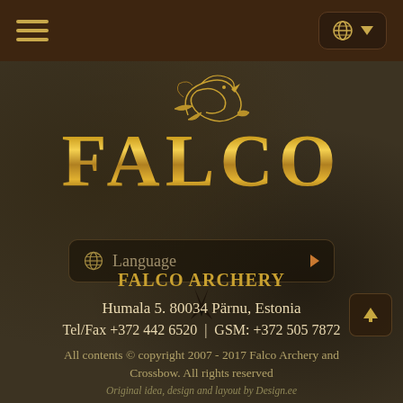[Figure (screenshot): Navigation bar with hamburger menu icon on left and globe/language dropdown on right, dark brown background]
[Figure (logo): Falco Archery logo: golden falcon bird graphic above large golden 'FALCO' text on dark stone-textured background]
[Figure (screenshot): Language selector button with globe icon and 'Language' text and arrow, dark semi-transparent background]
FALCO ARCHERY
Humala 5. 80034 Pärnu, Estonia
Tel/Fax +372 442 6520  |  GSM: +372 505 7872
All contents © copyright 2007 - 2017 Falco Archery and Crossbow. All rights reserved
Original idea, design and layout by Design.ee